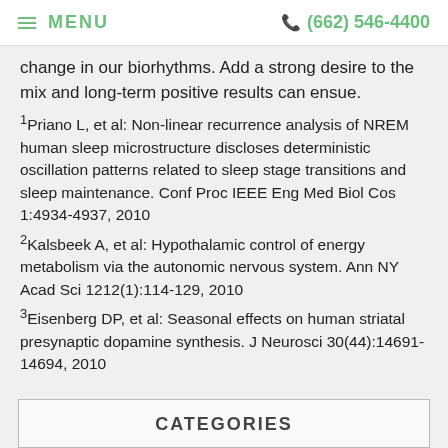≡ MENU   ☎ (662) 546-4400
change in our biorhythms. Add a strong desire to the mix and long-term positive results can ensue.
1Priano L, et al: Non-linear recurrence analysis of NREM human sleep microstructure discloses deterministic oscillation patterns related to sleep stage transitions and sleep maintenance. Conf Proc IEEE Eng Med Biol Cos 1:4934-4937, 2010
2Kalsbeek A, et al: Hypothalamic control of energy metabolism via the autonomic nervous system. Ann NY Acad Sci 1212(1):114-129, 2010
3Eisenberg DP, et al: Seasonal effects on human striatal presynaptic dopamine synthesis. J Neurosci 30(44):14691-14694, 2010
CATEGORIES